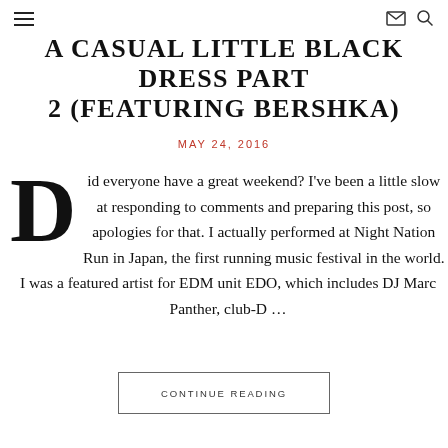≡ [mail icon] [search icon]
A CASUAL LITTLE BLACK DRESS PART 2 (FEATURING BERSHKA)
MAY 24, 2016
Did everyone have a great weekend? I've been a little slow at responding to comments and preparing this post, so apologies for that. I actually performed at Night Nation Run in Japan, the first running music festival in the world. I was a featured artist for EDM unit EDO, which includes DJ Marc Panther, club-D …
CONTINUE READING